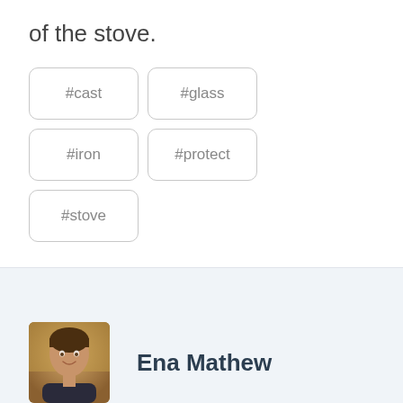of the stove.
#cast
#glass
#iron
#protect
#stove
[Figure (photo): Profile photo of a young man smiling, warm outdoor lighting]
Ena Mathew